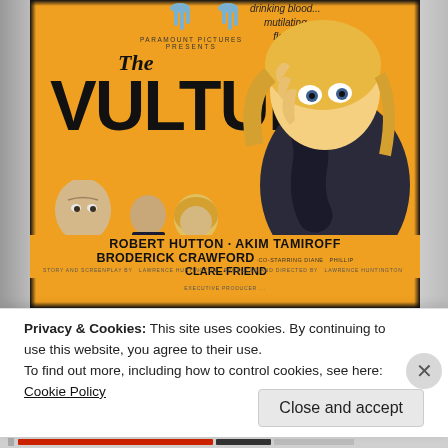[Figure (photo): Movie poster for 'The Vulture' (Paramount Pictures) showing a frightened blonde woman, vulture claws at top, cast figures at bottom left. Orange/yellow background. Text reads: 'drinking blood... mutilating flesh!' Credits: ROBERT HUTTON · AKIM TAMIROFF, BRODERICK CRAWFORD · CO-STARRING DIANE PHILLIP CLARE · FRIEND. Story and screenplay by LAWRENCE HUNTINGTON, Produced and Directed by LAWRENCE HUNTINGTON.]
Privacy & Cookies: This site uses cookies. By continuing to use this website, you agree to their use.
To find out more, including how to control cookies, see here: Cookie Policy